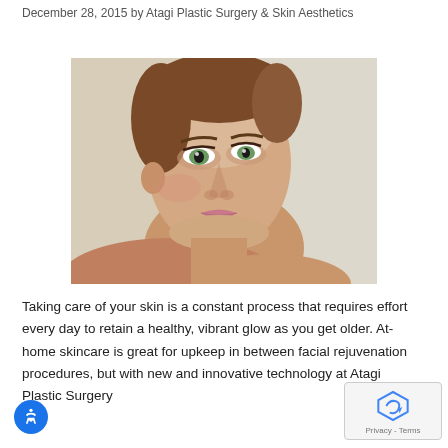December 28, 2015 by Atagi Plastic Surgery & Skin Aesthetics
[Figure (photo): Close-up portrait of a young woman with green eyes, brunette hair, looking over her shoulder with glowing skin against a light background]
Taking care of your skin is a constant process that requires effort every day to retain a healthy, vibrant glow as you get older. At-home skincare is great for upkeep in between facial rejuvenation procedures, but with new and innovative technology at Atagi Plastic Surgery